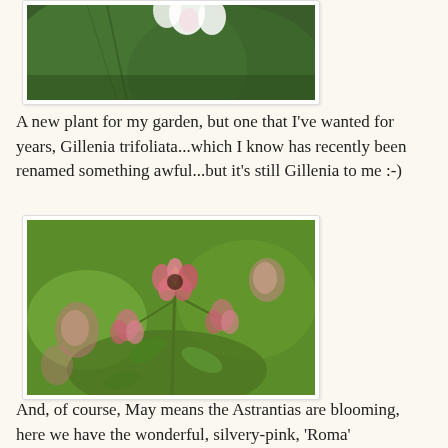[Figure (photo): Top portion of a photo showing a white flower against large green leaves, partially cropped at top]
A new plant for my garden, but one that I've wanted for years, Gillenia trifoliata...which I know has recently been renamed something awful...but it's still Gillenia to me :-)
[Figure (photo): Close-up macro photograph of Astrantia 'Roma' flower buds with silvery-pink petals against a green blurred background]
And, of course, May means the Astrantias are blooming, here we have the wonderful, silvery-pink, 'Roma'
[Figure (photo): Bottom photo partially visible showing green foliage and plants in a garden setting]